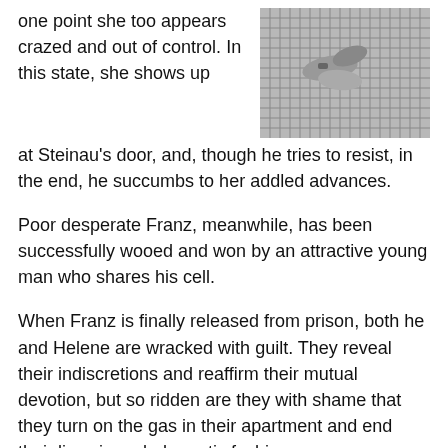one point she too appears crazed and out of control. In this state, she shows up at Steinau’s door, and, though he tries to resist, in the end, he succumbs to her addled advances.
[Figure (photo): Black and white photograph showing two people, one holding the other's arm, with a checkered pattern fabric in the background.]
Poor desperate Franz, meanwhile, has been successfully wooed and won by an attractive young man who shares his cell.
When Franz is finally released from prison, both he and Helene are wracked with guilt. They reveal their indiscretions and reaffirm their mutual devotion, but so ridden are they with shame that they turn on the gas in their apartment and end their lives in melodramatic fashion.